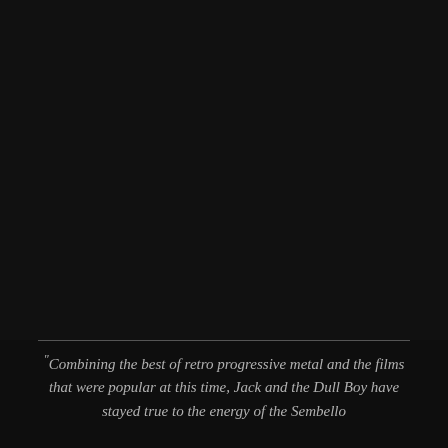[Figure (photo): Dark, nearly black background image filling the upper portion of the page — appears to be a photograph with very low exposure or a dark scene, details largely indiscernible.]
"Combining the best of retro progressive metal and the films that were popular at this time, Jack and the Dull Boy have stayed true to the energy of the Sembello